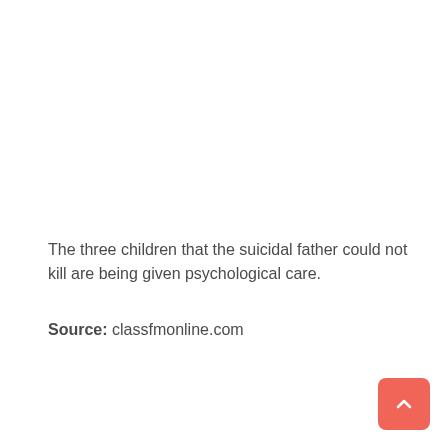The three children that the suicidal father could not kill are being given psychological care.
Source: classfmonline.com